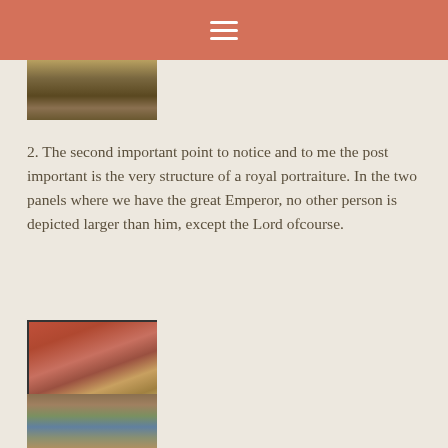[Figure (photo): Partially visible image at the top left, showing what appears to be a historical painting or mosaic with earthy tones.]
2. The second important point to notice and to me the post important is the very structure of a royal portraiture. In the two panels where we have the great Emperor, no other person is depicted larger than him, except the Lord ofcourse.
[Figure (photo): A photograph of what appears to be an ancient mosaic or fresco with red, gold, and brown tones, possibly depicting multiple figures in a royal or religious scene.]
[Figure (photo): A partially visible photograph at the bottom showing an ancient mosaic or fresco with blue and golden tones.]